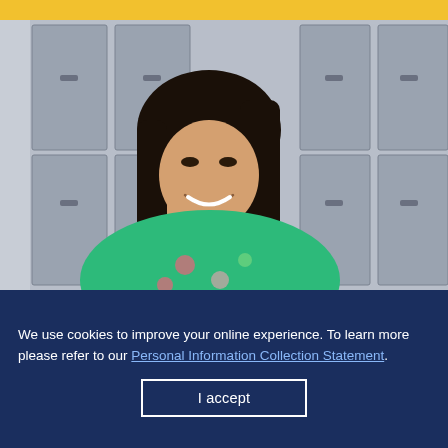[Figure (photo): A smiling woman with long dark hair wearing a green floral dress, standing in front of school lockers. The background shows gray metal lockers with a yellow ceiling or wall visible at the top.]
We use cookies to improve your online experience. To learn more please refer to our Personal Information Collection Statement.